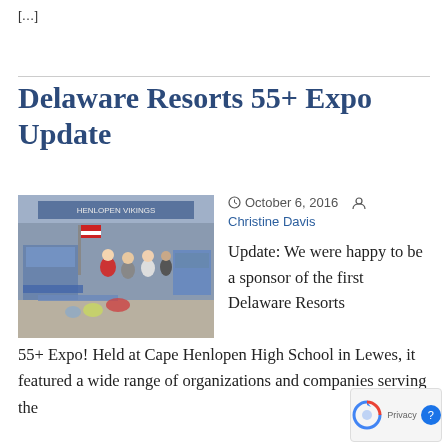[…]
Delaware Resorts 55+ Expo Update
[Figure (photo): Interior of Cape Henlopen High School gymnasium/hallway during the 55+ Expo event, showing booths with vendors, attendees walking around, American flag visible, blue and white school colors.]
October 6, 2016  Christine Davis
Update:  We were happy to be a sponsor of the first Delaware Resorts 55+ Expo! Held at Cape Henlopen High School in Lewes, it featured a wide range of organizations and companies serving the